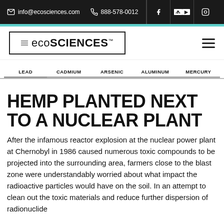info@ecosciences.com  888-578-0012
[Figure (logo): EcoSciences logo in bordered box with hamburger menu icon]
[Figure (other): Elements navigation bar showing LEAD, CADMIUM, ARSENIC, ALUMINUM, MERCURY]
HEMP PLANTED NEXT TO A NUCLEAR PLANT
After the infamous reactor explosion at the nuclear power plant at Chernobyl in 1986 caused numerous toxic compounds to be projected into the surrounding area, farmers close to the blast zone were understandably worried about what impact the radioactive particles would have on the soil. In an attempt to clean out the toxic materials and reduce further dispersion of radionuclide